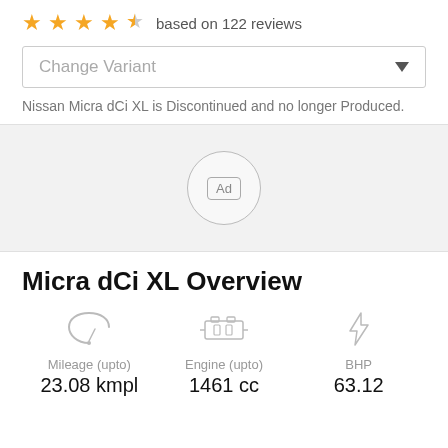★★★★½ based on 122 reviews
Change Variant
Nissan Micra dCi XL is Discontinued and no longer Produced.
[Figure (other): Advertisement placeholder circle with 'Ad' label inside]
Micra dCi XL Overview
Mileage (upto) 23.08 kmpl | Engine (upto) 1461 cc | BHP 63.12